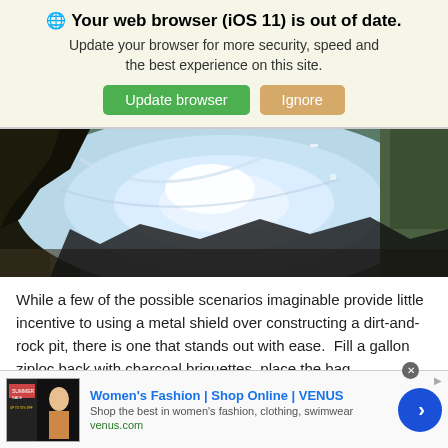🌐 Your web browser (iOS 11) is out of date. Update your browser for more security, speed and the best experience on this site.
Update browser | Ignore
[Figure (photo): Close-up photograph of a reflective metal dish or wok with shiny surface, outdoors with dirt and foliage visible at the edges.]
While a few of the possible scenarios imaginable provide little incentive to using a metal shield over constructing a dirt-and-rock pit, there is one that stands out with ease.  Fill a gallon ziploc back with charcoal briquettes, place the bag
Women's Fashion | Shop Online | VENUS
Shop the best in women's fashion, clothing, swimwear
venus.com